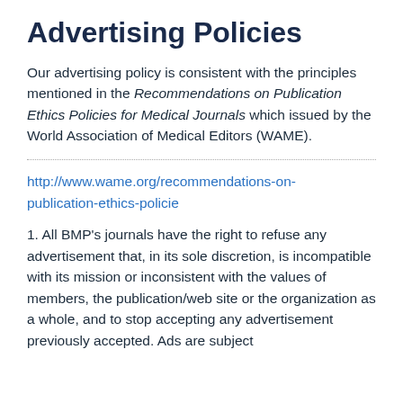Advertising Policies
Our advertising policy is consistent with the principles mentioned in the Recommendations on Publication Ethics Policies for Medical Journals which issued by the World Association of Medical Editors (WAME).
http://www.wame.org/recommendations-on-publication-ethics-policie
1. All BMP’s journals have the right to refuse any advertisement that, in its sole discretion, is incompatible with its mission or inconsistent with the values of members, the publication/web site or the organization as a whole, and to stop accepting any advertisement previously accepted. Ads are subject